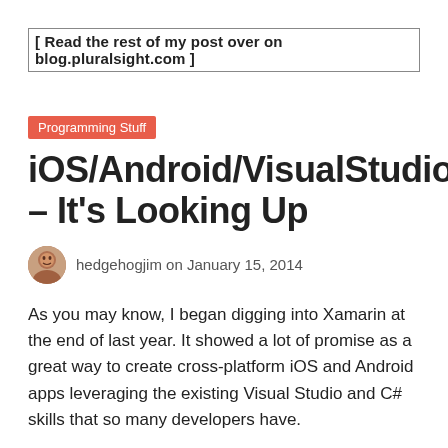[ Read the rest of my post over on blog.pluralsight.com ]
Programming Stuff
iOS/Android/VisualStudio/C# – It's Looking Up
hedgehogjim on January 15, 2014
As you may know, I began digging into Xamarin at the end of last year. It showed a lot of promise as a great way to create cross-platform iOS and Android apps leveraging the existing Visual Studio and C# skills that so many developers have.
When I first started working with it, I did have some initial concerns as I talked about in these 2 blog posts.